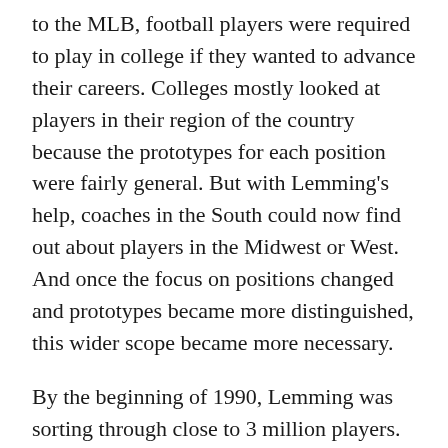to the MLB, football players were required to play in college if they wanted to advance their careers. Colleges mostly looked at players in their region of the country because the prototypes for each position were fairly general. But with Lemming's help, coaches in the South could now find out about players in the Midwest or West. And once the focus on positions changed and prototypes became more distinguished, this wider scope became more necessary.
By the beginning of 1990, Lemming was sorting through close to 3 million players. He was dedicated and had strict criteria for the type of player he chose to highlight as the best. The players had to be talented, productive on the field, recipients of special honors or awards, good students, and of good character. Trouble-makers, poor students, and criminals were not healthy prospects for teams, as their behavior was likely to ruin their eligibility.
These parameters had served Lemming well. In 1995,